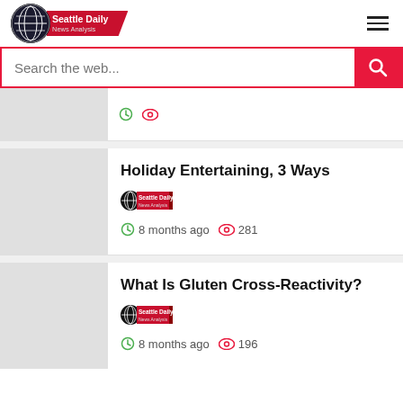Seattle Daily News Analysis
Search the web...
Holiday Entertaining, 3 Ways
8 months ago  281
What Is Gluten Cross-Reactivity?
8 months ago  196